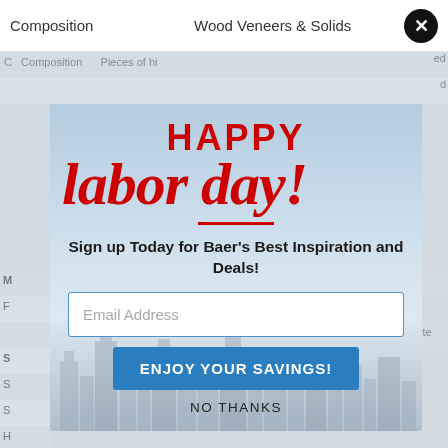Composition    Wood Veneers & Solids
[Figure (screenshot): A modal popup overlay on a furniture/retail website page. The modal shows a Labor Day promotional sign-up with 'HAPPY labor day!' text in red, a city skyline background, an email input field, an 'ENJOY YOUR SAVINGS!' blue button, and a 'NO THANKS' link. The background page shows navigation tabs 'Composition' and 'Wood Veneers & Solids' at top, with striped table rows partially visible on left and right sides of the modal.]